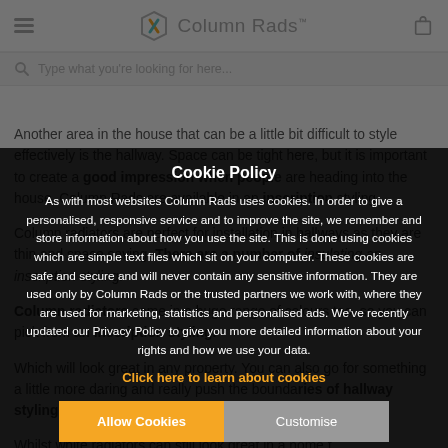Column Rads
Type what you're looking for here...
Another area in the house that can be a little bit difficult to style effectively is the hallway. Space can be tight here, but it is important to create a good impression when people are heading into the house. Column Rads are available in an inscription styling. There are a number of insulating an inscription styling. you can pick from an inscription styling. Which will look great in any property. You can also go for something a little more daring and really push the boundaries of hallway styling. Whilst white radiators can still look great in a home...
Cookie Policy
As with most websites Column Rads uses cookies. In order to give a personalised, responsive service and to improve the site, we remember and store information about how you use the site. This is done using cookies which are simple text files which sit on your computer. These cookies are safe and secure and will never contain any sensitive information. They are used only by Column Rads or the trusted partners we work with, where they are used for marketing, statistics and personalised ads. We've recently updated our Privacy Policy to give you more detailed information about your rights and how we use your data.
Click here to learn about cookies
Allow Cookies
Customise